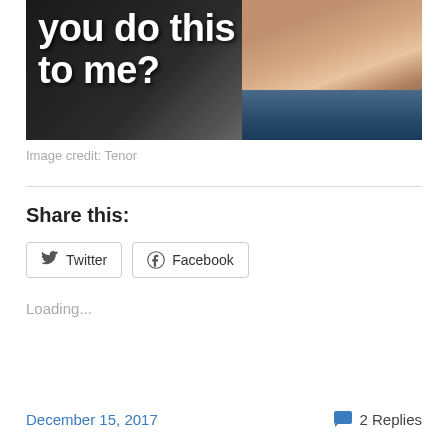[Figure (photo): Meme image with white bold text reading 'you do this to me?' on a dark background with a person's face visible on the right side wearing a blue jacket]
Image credit: Tenor
Share this:
Twitter  Facebook
Loading...
December 15, 2017   2 Replies